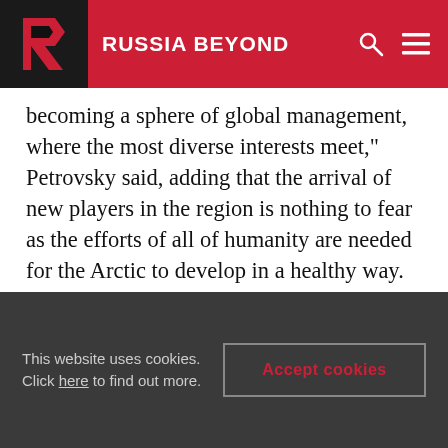RUSSIA BEYOND
becoming a sphere of global management, where the most diverse interests meet," Petrovsky said, adding that the arrival of new players in the region is nothing to fear as the efforts of all of humanity are needed for the Arctic to develop in a healthy way.
This text is based on material presented at the conference "International Cooperation in the Arctic: New Challenges and Vectors of Development" organized by the Russian International Affairs Council and dedicated to the
This website uses cookies. Click here to find out more. Accept cookies